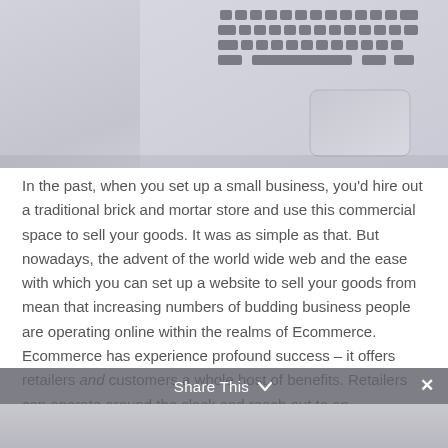[Figure (photo): Top-down view of a silver laptop keyboard and trackpad on a light gray/lavender surface, cropped to show upper-right portion of the laptop.]
In the past, when you set up a small business, you'd hire out a traditional brick and mortar store and use this commercial space to sell your goods. It was as simple as that. But nowadays, the advent of the world wide web and the ease with which you can set up a website to sell your goods from mean that increasing numbers of budding business people are operating online within the realms of Ecommerce. Ecommerce has experience profound success – it offers retailers and customers a whole host of benefits. Retailers can operate around the clock and reach out to an international audience with the simple addition of international shipping.
Share This